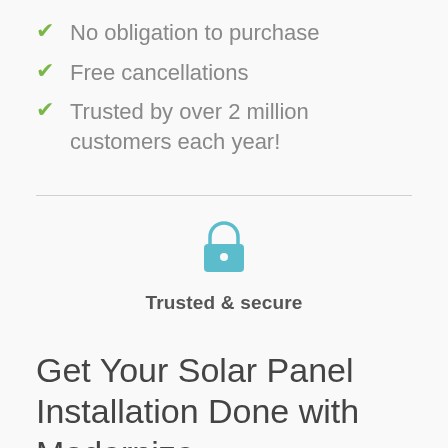No obligation to purchase
Free cancellations
Trusted by over 2 million customers each year!
[Figure (illustration): Teal padlock icon representing security]
Trusted & secure
Get Your Solar Panel Installation Done with Modernize